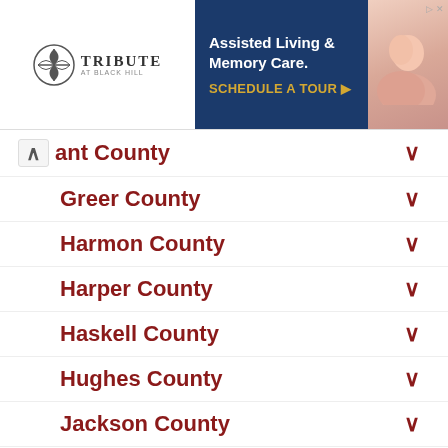[Figure (screenshot): Advertisement banner for Tribute at Black Hill senior living – Assisted Living & Memory Care. Schedule a Tour.]
ant County
Greer County
Harmon County
Harper County
Haskell County
Hughes County
Jackson County
Jefferson County
Johnston County
Kay County